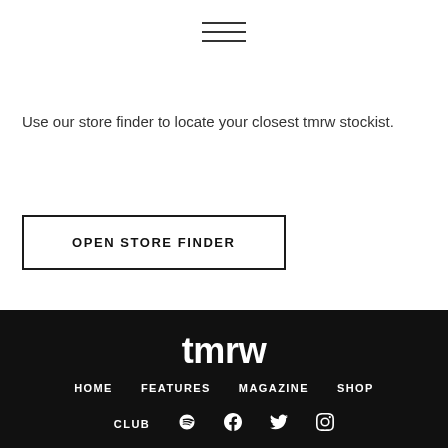[Figure (other): Hamburger menu icon (three horizontal lines)]
Use our store finder to locate your closest tmrw stockist.
OPEN STORE FINDER
tmrw
HOME   FEATURES   MAGAZINE   SHOP   CLUB
[Figure (logo): Social media icons: Spotify, Facebook, Twitter/X, Instagram]